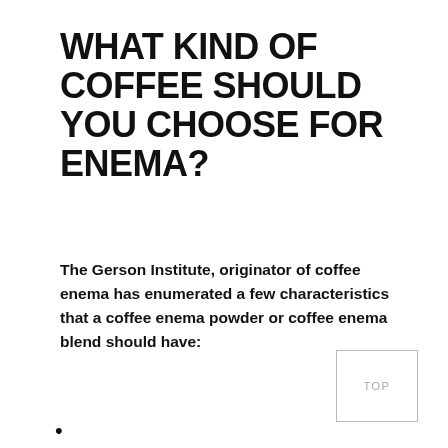WHAT KIND OF COFFEE SHOULD YOU CHOOSE FOR ENEMA?
The Gerson Institute, originator of coffee enema has enumerated a few characteristics that a coffee enema powder or coffee enema blend should have:
•